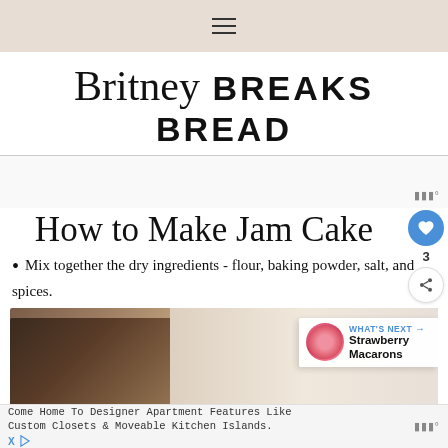≡ (hamburger menu)
Britney BREAKS BREAD
[Figure (logo): Site logo with script font 'Britney' and bold sans-serif 'BREAKS BREAD']
How to Make Jam Cake
Mix together the dry ingredients - flour, baking powder, salt, and spices.
[Figure (photo): Photo of jam cake slices with dark chocolate/jam coloring, on a white surface with some small decorative elements]
WHAT'S NEXT → Strawberry Macarons
Come Home To Designer Apartment Features Like Custom Closets & Moveable Kitchen Islands.